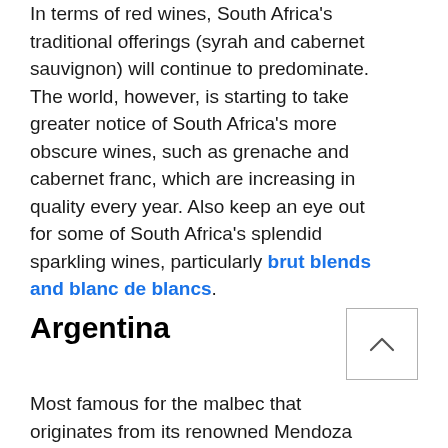In terms of red wines, South Africa's traditional offerings (syrah and cabernet sauvignon) will continue to predominate. The world, however, is starting to take greater notice of South Africa's more obscure wines, such as grenache and cabernet franc, which are increasing in quality every year. Also keep an eye out for some of South Africa's splendid sparkling wines, particularly brut blends and blanc de blancs.
Argentina
Most famous for the malbec that originates from its renowned Mendoza region, Argentina had one of the best